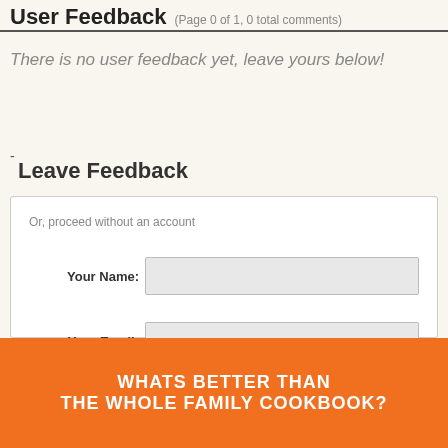User Feedback (Page 0 of 1, 0 total comments)
There is no user feedback yet, leave yours below!
-
Leave Feedback
Or, proceed without an account
Your Name:
Your Email:
WHATS BETTER THAN THE WHOLE FAMILY COOKBOOK?